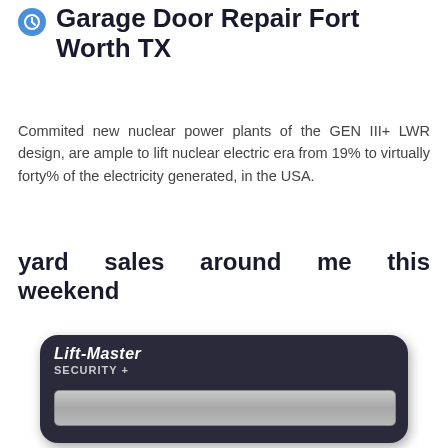Garage Door Repair Fort Worth TX
Commited new nuclear power plants of the GEN III+ LWR design, are ample to lift nuclear electric era from 19% to virtually forty% of the electricity generated, in the USA.
yard sales around me this weekend
[Figure (photo): A black Lift-Master Security+ garage door opener remote control device with a silver button panel]